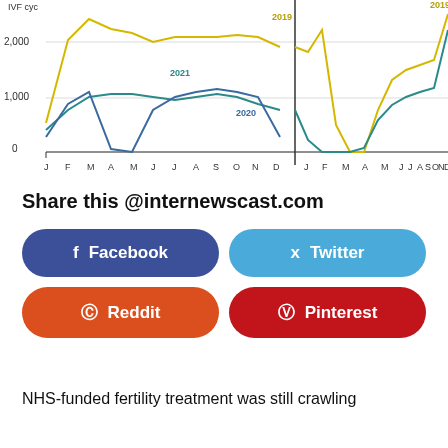[Figure (line-chart): Line chart showing IVF cycles per month across multiple years (2019, 2020, 2021) with two panels side by side. Y-axis shows values 0, 1,000, 2,000. X-axis shows months J F M A M J J A S O N D for each panel. Yellow line (2019) peaks around March ~2,400, blue/teal lines show 2020 and 2021 trends with sharp drops around April.]
Share this @internewscast.com
[Figure (infographic): Social share buttons: Facebook (dark blue), Twitter (light blue), Reddit (orange-red), Pinterest (dark red)]
NHS-funded fertility treatment was still crawling